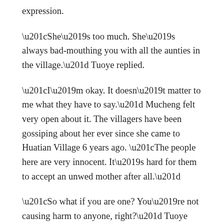expression.
“She’s too much. She’s always bad-mouthing you with all the aunties in the village.” Tuoye replied.
“I’m okay. It doesn’t matter to me what they have to say.” Mucheng felt very open about it. The villagers have been gossiping about her ever since she came to Huatian Village 6 years ago. “The people here are very innocent. It’s hard for them to accept an unwed mother after all.”
“So what if you are one? You’re not causing harm to anyone, right?” Tuoye was still very upset.
Mucheng smiled and persuaded him. “It’s